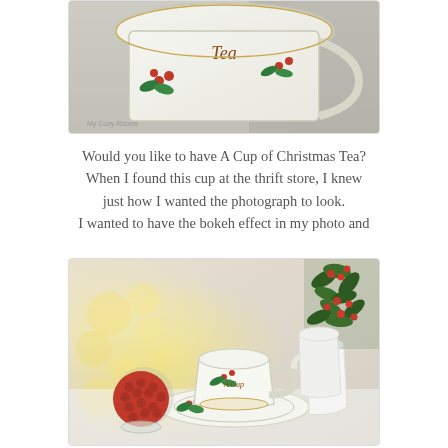[Figure (photo): Close-up photo of a Christmas-themed teacup with holly berry decorations and the word 'Tea' visible on the cup, with a watermark in the lower left corner.]
Would you like to have A Cup of Christmas Tea? When I found this cup at the thrift store, I knew just how I wanted the photograph to look. I wanted to have the bokeh effect in my photo and
[Figure (photo): Photo of a Christmas tea setting with holly berry teacup and saucer, a red berry ball decoration, a white creamer, and a holly plant, with bokeh lights in the background.]